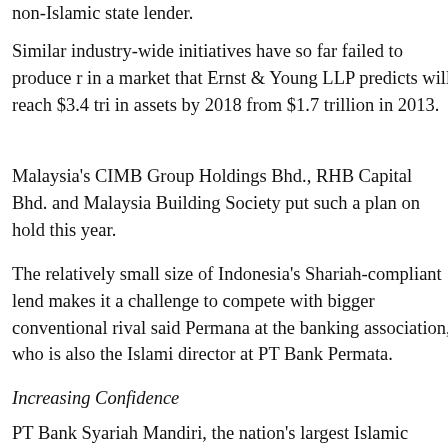non-Islamic state lender.
Similar industry-wide initiatives have so far failed to produce results in a market that Ernst & Young LLP predicts will reach $3.4 trillion in assets by 2018 from $1.7 trillion in 2013.
Malaysia's CIMB Group Holdings Bhd., RHB Capital Bhd. and Malaysia Building Society put such a plan on hold this year.
The relatively small size of Indonesia's Shariah-compliant lenders makes it a challenge to compete with bigger conventional rivals, said Permana at the banking association, who is also the Islamic director at PT Bank Permata.
Increasing Confidence
PT Bank Syariah Mandiri, the nation's largest Islamic bank, has trillion rupiah of assets at the end of last year, compared with second-placed PT Bank Muamalat Indonesia's 62 trillion rupia